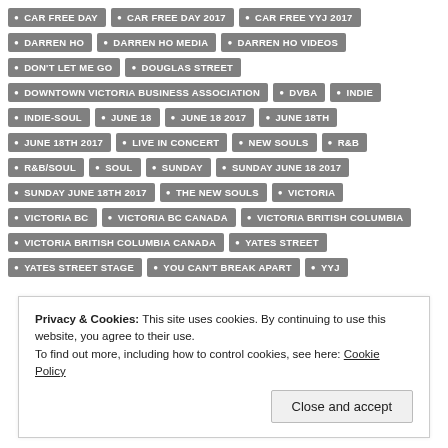CAR FREE DAY
CAR FREE DAY 2017
CAR FREE YYJ 2017
DARREN HO
DARREN HO MEDIA
DARREN HO VIDEOS
DON'T LET ME GO
DOUGLAS STREET
DOWNTOWN VICTORIA BUSINESS ASSOCIATION
DVBA
INDIE
INDIE-SOUL
JUNE 18
JUNE 18 2017
JUNE 18TH
JUNE 18TH 2017
LIVE IN CONCERT
NEW SOULS
R&B
R&B/SOUL
SOUL
SUNDAY
SUNDAY JUNE 18 2017
SUNDAY JUNE 18TH 2017
THE NEW SOULS
VICTORIA
VICTORIA BC
VICTORIA BC CANADA
VICTORIA BRITISH COLUMBIA
VICTORIA BRITISH COLUMBIA CANADA
YATES STREET
YATES STREET STAGE
YOU CAN'T BREAK APART
YYJ
Privacy & Cookies: This site uses cookies. By continuing to use this website, you agree to their use. To find out more, including how to control cookies, see here: Cookie Policy
Close and accept